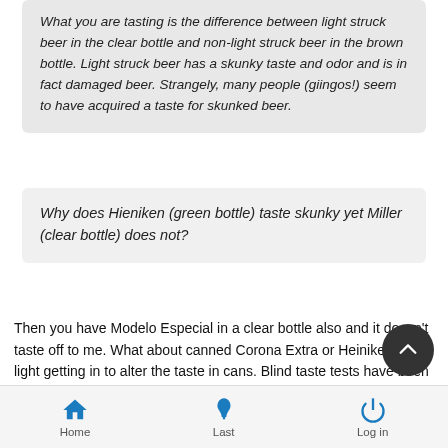What you are tasting is the difference between light struck beer in the clear bottle and non-light struck beer in the brown bottle. Light struck beer has a skunky taste and odor and is in fact damaged beer. Strangely, many people (giingos!) seem to have acquired a taste for skunked beer.
Why does Hieniken (green bottle) taste skunky yet Miller (clear bottle) does not?
Then you have Modelo Especial in a clear bottle also and it doesn't taste off to me. What about canned Corona Extra or Heiniken? No light getting in to alter the taste in cans. Blind taste tests have been made and canned beer usually comes out on top.
[Figure (other): Scroll-to-top circular button with upward chevron arrow]
Home  Last  Log in